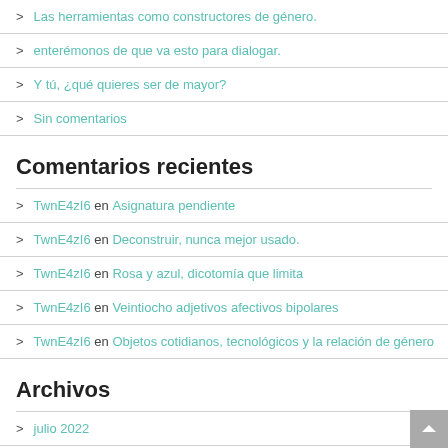> Las herramientas como constructores de género.
> enterémonos de que va esto para dialogar.
> Y tú, ¿qué quieres ser de mayor?
> Sin comentarios
Comentarios recientes
> TwnE4zI6 en Asignatura pendiente
> TwnE4zI6 en Deconstruir, nunca mejor usado.
> TwnE4zI6 en Rosa y azul, dicotomía que limita
> TwnE4zI6 en Veintiocho adjetivos afectivos bipolares
> TwnE4zI6 en Objetos cotidianos, tecnológicos y la relación de género
Archivos
> julio 2022
> mayo 2022